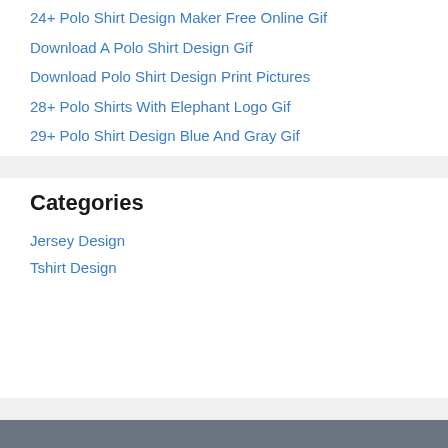24+ Polo Shirt Design Maker Free Online Gif
Download A Polo Shirt Design Gif
Download Polo Shirt Design Print Pictures
28+ Polo Shirts With Elephant Logo Gif
29+ Polo Shirt Design Blue And Gray Gif
Categories
Jersey Design
Tshirt Design